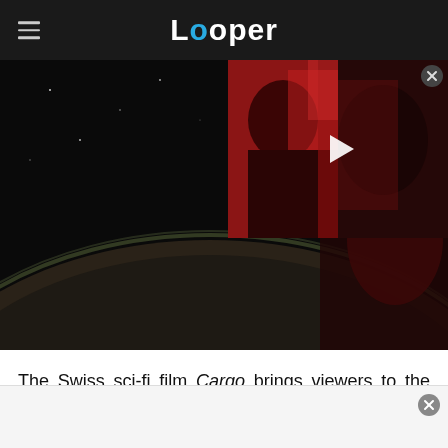Looper
[Figure (screenshot): Hero image showing a sci-fi scene from the film Cargo: space view of a planet on the left, and a video thumbnail overlay on the right showing a person's face lit in red with a play button]
The Swiss sci-fi film Cargo brings viewers to the year 2267. Most of humanity has been wiped out after a catastrophic ecological collapse, and the survivors